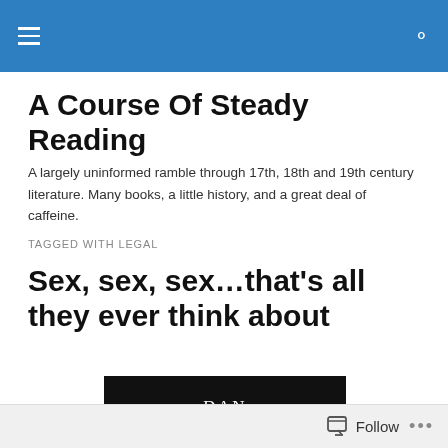A Course Of Steady Reading (site navigation header)
A Course Of Steady Reading
A largely uninformed ramble through 17th, 18th and 19th century literature. Many books, a little history, and a great deal of caffeine.
TAGGED WITH LEGAL
Sex, sex, sex…that's all they ever think about
[Figure (photo): Book cover showing DAN CRUICKSHANK in white serif text on black background]
Follow